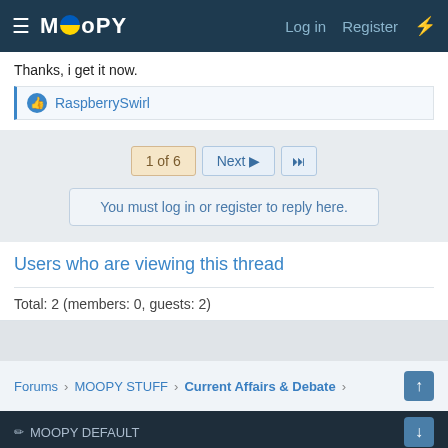MOOPY | Log in | Register
Thanks, i get it now.
RaspberrySwirl
1 of 6 | Next ▶ | ▶▶
You must log in or register to reply here.
Users who are viewing this thread
Total: 2 (members: 0, guests: 2)
Forums > MOOPY STUFF > Current Affairs & Debate > | MOOPY DEFAULT | Contact us | Terms and Rules | Privacy policy | Help